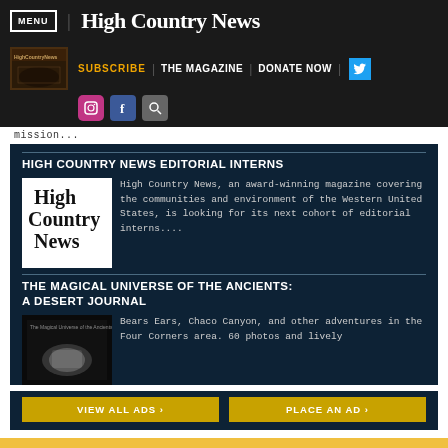MENU | High Country News
[Figure (screenshot): Navigation bar with magazine thumbnail, SUBSCRIBE, THE MAGAZINE, DONATE NOW links, Twitter, Instagram, Facebook, and Search icons]
mission...
HIGH COUNTRY NEWS EDITORIAL INTERNS
[Figure (logo): High Country News logo — black text on white background]
High Country News, an award-winning magazine covering the communities and environment of the Western United States, is looking for its next cohort of editorial interns....
THE MAGICAL UNIVERSE OF THE ANCIENTS: A DESERT JOURNAL
[Figure (photo): Book cover: The Magical Universe of the Ancients — dark cover with light image]
Bears Ears, Chaco Canyon, and other adventures in the Four Corners area. 60 photos and lively
VIEW ALL ADS ›
PLACE AN AD ›